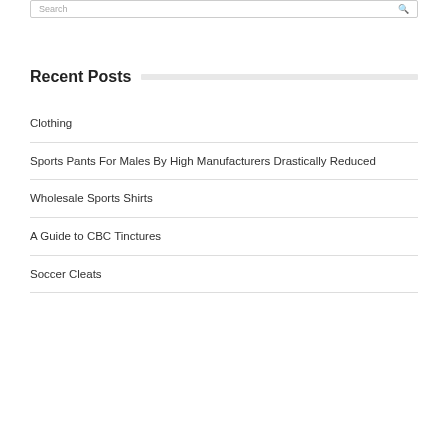Recent Posts
Clothing
Sports Pants For Males By High Manufacturers Drastically Reduced
Wholesale Sports Shirts
A Guide to CBC Tinctures
Soccer Cleats